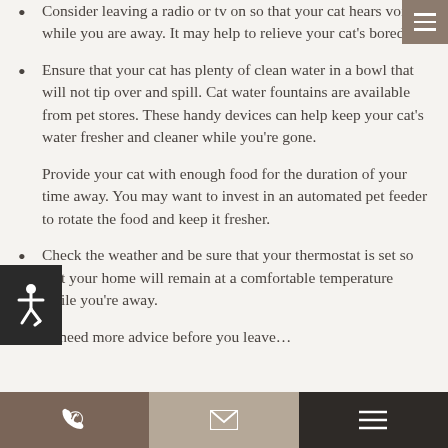Consider leaving a radio or tv on so that your cat hears voices while you are away. It may help to relieve your cat's boredom.
Ensure that your cat has plenty of clean water in a bowl that will not tip over and spill. Cat water fountains are available from pet stores. These handy devices can help keep your cat's water fresher and cleaner while you're gone.
Provide your cat with enough food for the duration of your time away. You may want to invest in an automated pet feeder to rotate the food and keep it fresher.
Check the weather and be sure that your thermostat is set so that your home will remain at a comfortable temperature while you're away.
If you need more advice before you leave…